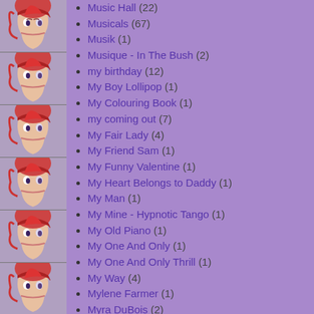[Figure (illustration): Repeating vertical strip of David Bowie Aladdin Sane portrait photos along the left side]
Music Hall (22)
Musicals (67)
Musik (1)
Musique - In The Bush (2)
my birthday (12)
My Boy Lollipop (1)
My Colouring Book (1)
my coming out (7)
My Fair Lady (4)
My Friend Sam (1)
My Funny Valentine (1)
My Heart Belongs to Daddy (1)
My Man (1)
My Mine - Hypnotic Tango (1)
My Old Piano (1)
My One And Only (1)
My One And Only Thrill (1)
My Way (4)
Mylene Farmer (1)
Myra DuBois (2)
Myrna Loy (1)
MySpace (3)